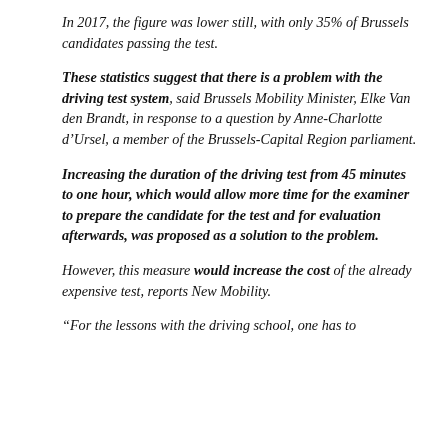In 2017, the figure was lower still, with only 35% of Brussels candidates passing the test.
These statistics suggest that there is a problem with the driving test system, said Brussels Mobility Minister, Elke Van den Brandt, in response to a question by Anne-Charlotte d’Ursel, a member of the Brussels-Capital Region parliament.
Increasing the duration of the driving test from 45 minutes to one hour, which would allow more time for the examiner to prepare the candidate for the test and for evaluation afterwards, was proposed as a solution to the problem.
However, this measure would increase the cost of the already expensive test, reports New Mobility.
“For the lessons with the driving school, one has to